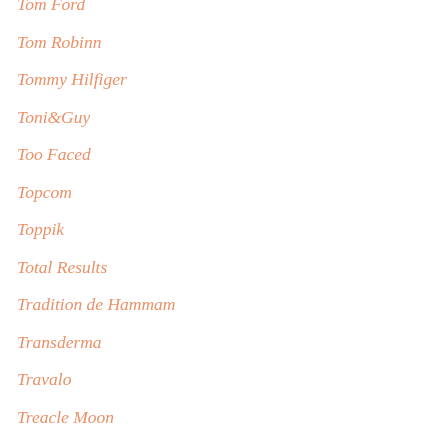Tom Ford
Tom Robinn
Tommy Hilfiger
Toni&Guy
Too Faced
Topcom
Toppik
Total Results
Tradition de Hammam
Transderma
Travalo
Treacle Moon